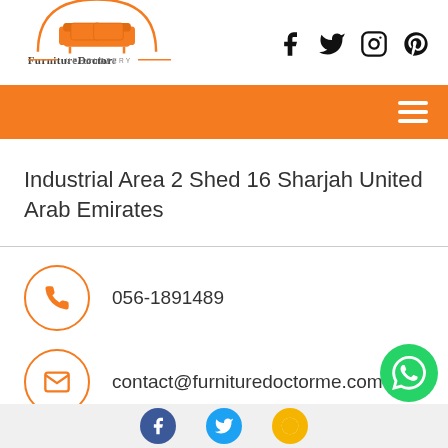[Figure (logo): Furniture Doctor Upholstery logo — orange sofa inside arch with brand name]
[Figure (infographic): Social media icons: Facebook, Twitter, Instagram, Pinterest]
[Figure (infographic): Orange navigation bar with hamburger menu icon]
Industrial Area 2 Shed 16 Sharjah United Arab Emirates
056-1891489
contact@furnituredoctorme.com
[Figure (infographic): Footer with Facebook, Twitter, and yellow social icons plus WhatsApp green button]